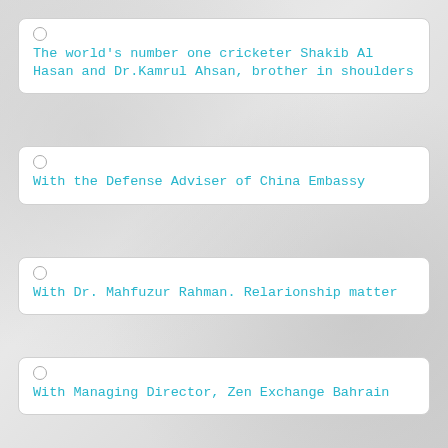The world's number one cricketer Shakib Al Hasan and Dr.Kamrul Ahsan, brother in shoulders
With the Defense Adviser of China Embassy
With Dr. Mahfuzur Rahman. Relarionship matter
With Managing Director, Zen Exchange Bahrain